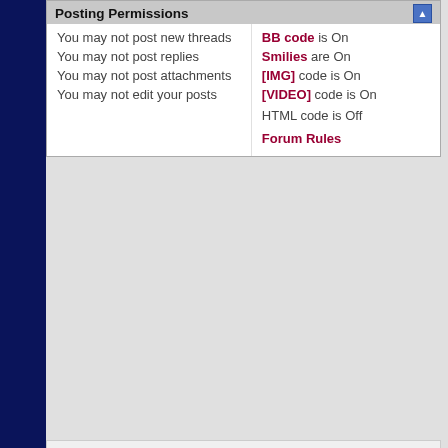Posting Permissions
|  |  |
| --- | --- |
| You may not post new threads | BB code is On |
| You may not post replies | Smilies are On |
| You may not post attachments | [IMG] code is On |
| You may not edit your posts | [VIDEO] code is On |
|  | HTML code is Off |
|  | Forum Rules |
Contact Us  Comic Book Resour
All times are GMT -7. The time now is 10:03 AM.
© 1995 - 2022 Valnet, Inc All Rights Reserved.
[Figure (infographic): Advertisement: Proudly Serving Rockville, MD - Vito Services Plumbing, Heating & Co...]